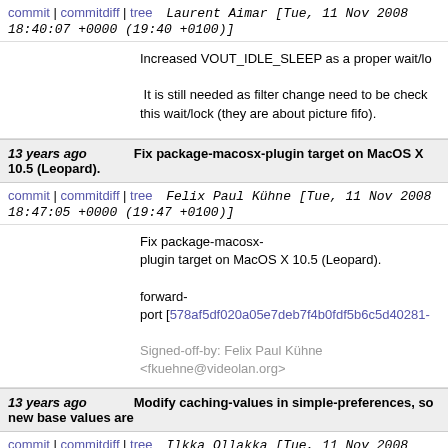commit | commitdiff | tree    Laurent Aimar [Tue, 11 Nov 2008 18:40:07 +0000 (19:40 +0100)]
Increased VOUT_IDLE_SLEEP as a proper wait/lo

 It is still needed as filter change need to be check
this wait/lock (they are about picture fifo).
13 years ago    Fix package-macosx-plugin target on MacOS X 10.5 (Leopard).
commit | commitdiff | tree    Felix Paul Kühne [Tue, 11 Nov 2008 18:47:05 +0000 (19:47 +0100)]
Fix package-macosx-plugin target on MacOS X 10.5 (Leopard).

forward-port [578af5df020a05e7deb7f4b0fdf5b6c5d40281-

Signed-off-by: Felix Paul Kühne <fkuehne@videolan.org>
13 years ago    Modify caching-values in simple-preferences, so new base values are
commit | commitdiff | tree    Ilkka Ollakka [Tue, 11 Nov 2008 15:09:51 +0000 (17:09 +0200)]
Modify caching-values in simple-